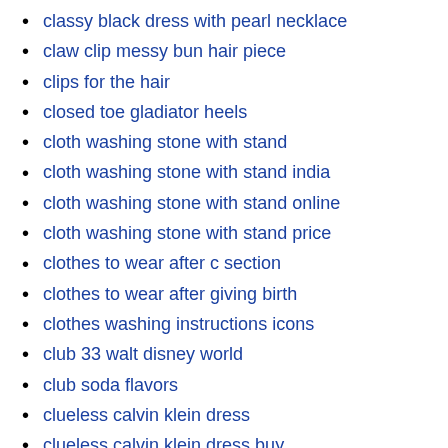classy black dress with pearl necklace
claw clip messy bun hair piece
clips for the hair
closed toe gladiator heels
cloth washing stone with stand
cloth washing stone with stand india
cloth washing stone with stand online
cloth washing stone with stand price
clothes to wear after c section
clothes to wear after giving birth
clothes washing instructions icons
club 33 walt disney world
club soda flavors
clueless calvin klein dress
clueless calvin klein dress buy